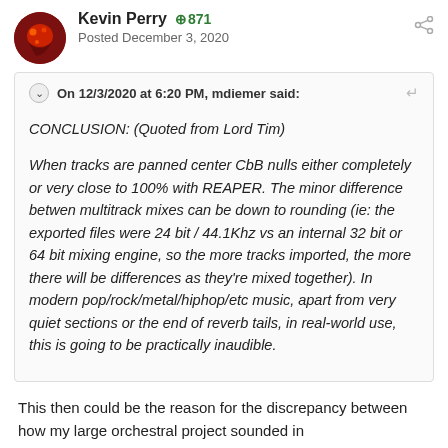Kevin Perry +871
Posted December 3, 2020
On 12/3/2020 at 6:20 PM, mdiemer said:
CONCLUSION: (Quoted from Lord Tim)

When tracks are panned center CbB nulls either completely or very close to 100% with REAPER. The minor difference betwen multitrack mixes can be down to rounding (ie: the exported files were 24 bit / 44.1Khz vs an internal 32 bit or 64 bit mixing engine, so the more tracks imported, the more there will be differences as they're mixed together). In modern pop/rock/metal/hiphop/etc music, apart from very quiet sections or the end of reverb tails, in real-world use, this is going to be practically inaudible.
This then could be the reason for the discrepancy between how my large orchestral project sounded in